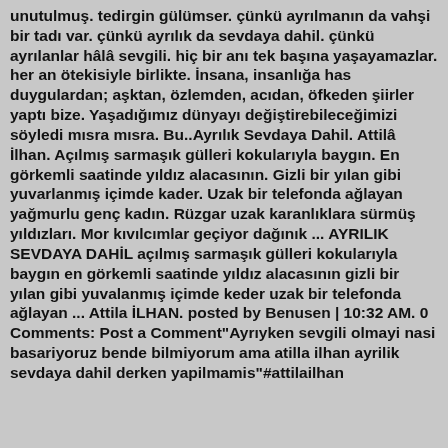unutulmuş. tedirgin gülümser. çünkü ayrılmanın da vahşi bir tadı var. çünkü ayrılık da sevdaya dahil. çünkü ayrılanlar hâlâ sevgili. hiç bir anı tek başına yaşayamazlar. her an ötekisiyle birlikte. İnsana, insanlığa has duygulardan; aşktan, özlemden, acıdan, öfkeden şiirler yaptı bize. Yaşadığımız dünyayı değiştirebileceğimizi söyledi mısra mısra. Bu..Ayrılık Sevdaya Dahil. Attilâ İlhan. Açılmış sarmaşık gülleri kokularıyla baygın. En görkemli saatinde yıldız alacasının. Gizli bir yılan gibi yuvarlanmış içimde kader. Uzak bir telefonda ağlayan yağmurlu genç kadın. Rüzgar uzak karanlıklara sürmüş yıldızları. Mor kıvılcımlar geçiyor dağınık ... AYRILIK SEVDAYA DAHİL açılmış sarmaşık gülleri kokularıyla baygın en görkemli saatinde yıldız alacasının gizli bir yılan gibi yuvalanmış içimde keder uzak bir telefonda ağlayan ... Attila İLHAN. posted by Benusen | 10:32 AM. 0 Comments: Post a Comment"Ayrıyken sevgili olmayi nasi basariyoruz bende bilmiyorum ama atilla ilhan ayrilik sevdaya dahil derken yapilmamis"#attilailhan